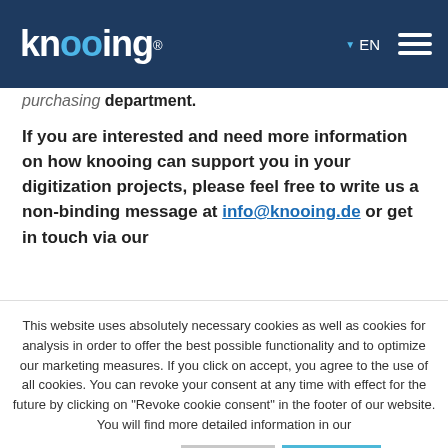knooing® EN [menu]
purchasing department.
If you are interested and need more information on how knooing can support you in your digitization projects, please feel free to write us a non-binding message at info@knooing.de or get in touch via our
This website uses absolutely necessary cookies as well as cookies for analysis in order to offer the best possible functionality and to optimize our marketing measures. If you click on accept, you agree to the use of all cookies. You can revoke your consent at any time with effect for the future by clicking on "Revoke cookie consent" in the footer of our website. You will find more detailed information in our
Privacy Policy . Reject Accept